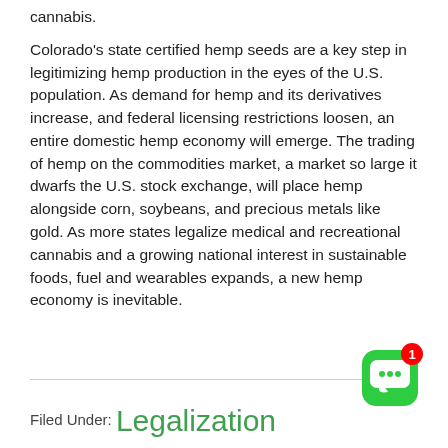cannabis.

Colorado's state certified hemp seeds are a key step in legitimizing hemp production in the eyes of the U.S. population. As demand for hemp and its derivatives increase, and federal licensing restrictions loosen, an entire domestic hemp economy will emerge. The trading of hemp on the commodities market, a market so large it dwarfs the U.S. stock exchange, will place hemp alongside corn, soybeans, and precious metals like gold. As more states legalize medical and recreational cannabis and a growing national interest in sustainable foods, fuel and wearables expands, a new hemp economy is inevitable.
[Figure (other): Green chat/messaging app icon with a notification badge showing '1']
Filed Under: Legalization